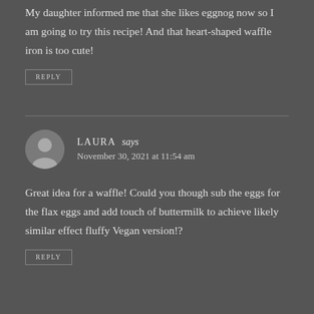My daughter informed me that she likes eggnog now so I am going to try this recipe! And that heart-shaped waffle iron is too cute!
REPLY
LAURA says
November 30, 2021 at 11:54 am
Great idea for a waffle! Could you though sub the eggs for the flax eggs and add touch of buttermilk to achieve likely similar effect fluffy Vegan version!?
REPLY